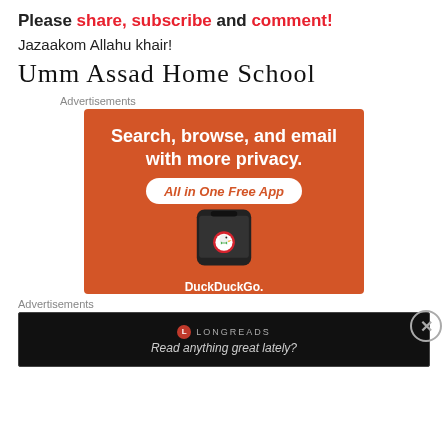Please share, subscribe and comment!
Jazaakom Allahu khair!
Umm Assad Home School
Advertisements
[Figure (infographic): DuckDuckGo advertisement on orange background: 'Search, browse, and email with more privacy. All in One Free App' with phone mockup showing DuckDuckGo logo and text.]
Advertisements
[Figure (infographic): Longreads advertisement on black background: red circle logo, 'LONGREADS', 'Read anything great lately?']